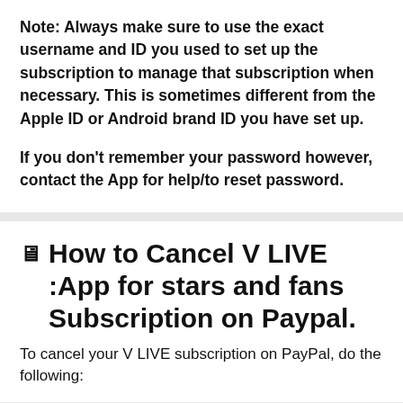Note: Always make sure to use the exact username and ID you used to set up the subscription to manage that subscription when necessary. This is sometimes different from the Apple ID or Android brand ID you have set up.
If you don't remember your password however, contact the App for help/to reset password.
How to Cancel V LIVE :App for stars and fans Subscription on Paypal.
To cancel your V LIVE subscription on PayPal, do the following: